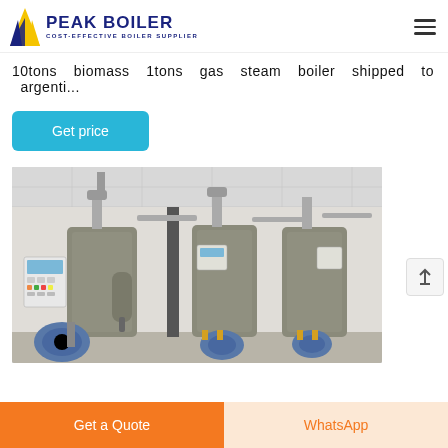PEAK BOILER — COST-EFFECTIVE BOILER SUPPLIER
10tons biomass 1tons gas steam boiler shipped to argenti...
Get price
[Figure (photo): Industrial boiler room showing multiple vertical steam boilers with piping, control panels, and blower units installed on a factory floor]
Get a Quote
WhatsApp